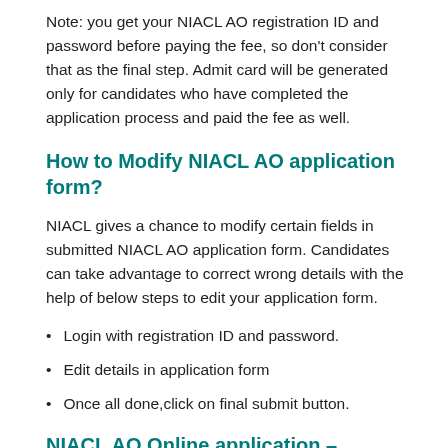Note: you get your NIACL AO registration ID and password before paying the fee, so don't consider that as the final step. Admit card will be generated only for candidates who have completed the application process and paid the fee as well.
How to Modify NIACL AO application form?
NIACL gives a chance to modify certain fields in submitted NIACL AO application form. Candidates can take advantage to correct wrong details with the help of below steps to edit your application form.
Login with registration ID and password.
Edit details in application form
Once all done,click on final submit button.
NIACL AO Online application – Required Documents